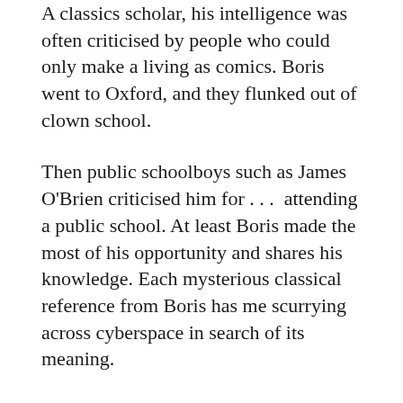A classics scholar, his intelligence was often criticised by people who could only make a living as comics. Boris went to Oxford, and they flunked out of clown school.
Then public schoolboys such as James O'Brien criticised him for . . .  attending a public school. At least Boris made the most of his opportunity and shares his knowledge. Each mysterious classical reference from Boris has me scurrying across cyberspace in search of its meaning.
In his books, his columns and on BBC2 Boris widened our perspective of history. Narrow-minded Eridans like OJ – The Owenly Child – Jones just want to be on the right side of hysteria.
The ingratitude of these people is incredible. Few realise that without Boris they would have